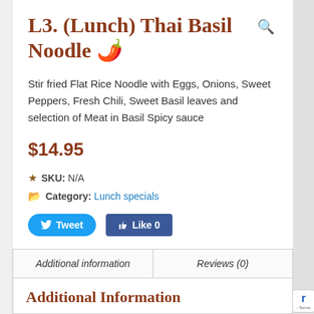L3. (Lunch) Thai Basil Noodle 🌶️
Stir fried Flat Rice Noodle with Eggs, Onions, Sweet Peppers, Fresh Chili, Sweet Basil leaves and selection of Meat in Basil Spicy sauce
$14.95
SKU: N/A
Category: Lunch specials
[Figure (other): Tweet and Like social media buttons]
| Additional information | Reviews (0) |
| --- | --- |
Additional Information